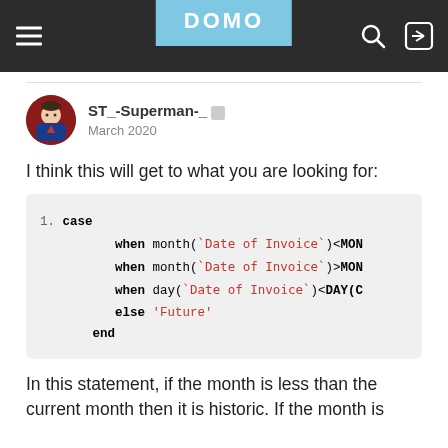DOMO (navigation bar with hamburger menu, search icon, login icon)
ST_-Superman-_ □
March 2020
I think this will get to what you are looking for:
In this statement, if the month is less than the current month then it is historic. If the month is